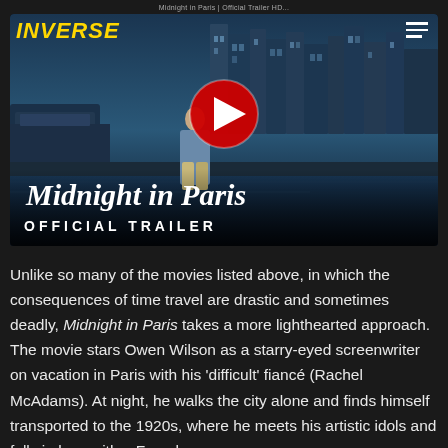Midnight in Paris | Official Trailer HD...
[Figure (screenshot): YouTube video thumbnail for Midnight in Paris Official Trailer showing a man walking by a Paris riverfront with the YouTube play button overlay, the movie title 'Midnight in Paris' and 'OFFICIAL TRAILER' text at the bottom. The INVERSE logo appears in yellow in the top-left corner.]
Unlike so many of the movies listed above, in which the consequences of time travel are drastic and sometimes deadly, Midnight in Paris takes a more lighthearted approach. The movie stars Owen Wilson as a starry-eyed screenwriter on vacation in Paris with his ‘difficult’ fiancé (Rachel McAdams). At night, he walks the city alone and finds himself transported to the 1920s, where he meets his artistic idols and falls in love with a French woman